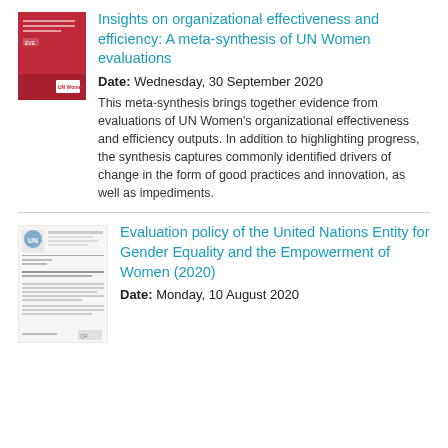[Figure (illustration): Red book cover thumbnail for UN Women meta-synthesis report]
Insights on organizational effectiveness and efficiency: A meta-synthesis of UN Women evaluations
Date: Wednesday, 30 September 2020
This meta-synthesis brings together evidence from evaluations of UN Women's organizational effectiveness and efficiency outputs. In addition to highlighting progress, the synthesis captures commonly identified drivers of change in the form of good practices and innovation, as well as impediments.
[Figure (illustration): Document thumbnail showing a UN Women evaluation policy document with letterhead and text]
Evaluation policy of the United Nations Entity for Gender Equality and the Empowerment of Women (2020)
Date: Monday, 10 August 2020